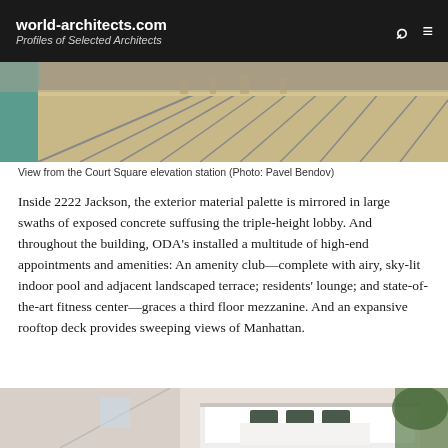world-architects.com
Profiles of Selected Architects
[Figure (photo): Aerial/elevated view of train tracks at Court Square elevation station, showing parallel rails and platform structures from above]
View from the Court Square elevation station (Photo: Pavel Bendov)
Inside 2222 Jackson, the exterior material palette is mirrored in large swaths of exposed concrete suffusing the triple-height lobby. And throughout the building, ODA’s installed a multitude of high-end appointments and amenities: An amenity club—complete with airy, sky-lit indoor pool and adjacent landscaped terrace; residents’ lounge; and state-of-the-art fitness center—graces a third floor mezzanine. And an expansive rooftop deck provides sweeping views of Manhattan.
[Figure (photo): Interior photo of a modern lobby or lounge area with white surfaces, sofas with dark cushions, and plants]